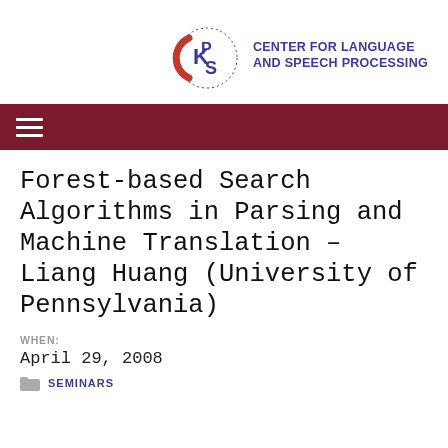[Figure (logo): Center for Language and Speech Processing logo with CLSP initials in a circular design with red crescent and blue lettering, and text 'CENTER FOR LANGUAGE AND SPEECH PROCESSING' to the right]
CENTER FOR LANGUAGE AND SPEECH PROCESSING
Forest-based Search Algorithms in Parsing and Machine Translation – Liang Huang (University of Pennsylvania)
WHEN:
April 29, 2008
SEMINARS